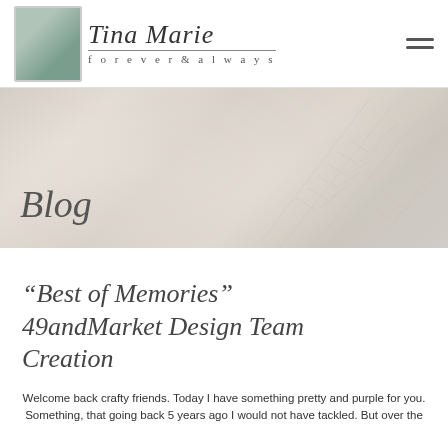Tina Marie — forever & always
[Figure (photo): Hero banner with soft beige/gray tones and pine branch fronds, overlaid with italic 'Blog' text]
Blog
“Best of Memories” 49andMarket Design Team Creation
Welcome back crafty friends. Today I have something pretty and purple for you. Something, that going back 5 years ago I would not have tackled. But over the